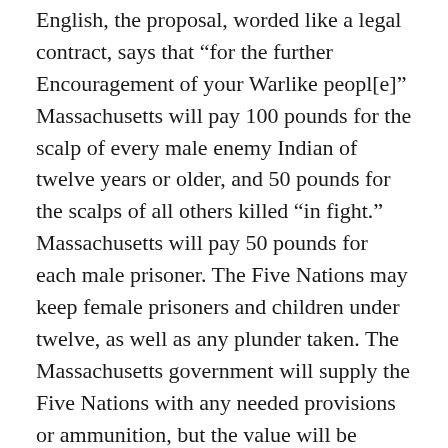English, the proposal, worded like a legal contract, says that “for the further Encouragement of your Warlike peopl[e]” Massachusetts will pay 100 pounds for the scalp of every male enemy Indian of twelve years or older, and 50 pounds for the scalps of all others killed “in fight.” Massachusetts will pay 50 pounds for each male prisoner. The Five Nations may keep female prisoners and children under twelve, as well as any plunder taken. The Massachusetts government will supply the Five Nations with any needed provisions or ammunition, but the value will be deducted from the money paid for scalps.
For each ten members of the Five Nations, Massachusetts planned to assign two Englishmen to accompany them in order to protect them from “any mischief that may happen to them from our Souldiers by mistake” and to avoid disputes about